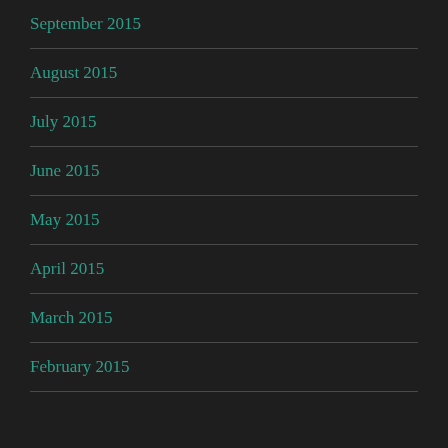September 2015
August 2015
July 2015
June 2015
May 2015
April 2015
March 2015
February 2015